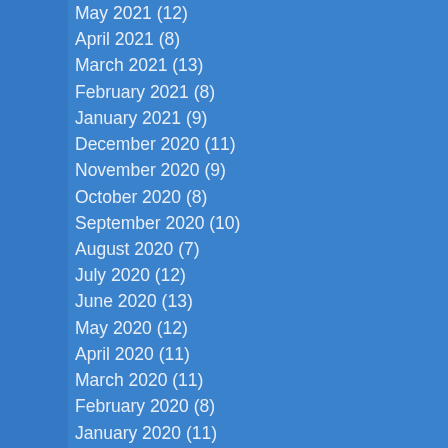May 2021 (12)
April 2021 (8)
March 2021 (13)
February 2021 (8)
January 2021 (9)
December 2020 (11)
November 2020 (9)
October 2020 (8)
September 2020 (10)
August 2020 (7)
July 2020 (12)
June 2020 (13)
May 2020 (12)
April 2020 (11)
March 2020 (11)
February 2020 (8)
January 2020 (11)
December 2019 (2)
November 2019 (4)
October 2019 (7)
September 2019 (1)